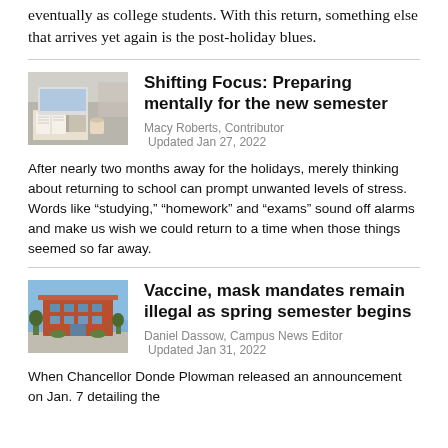eventually as college students. With this return, something else that arrives yet again is the post-holiday blues.
[Figure (photo): Photo of open books and study materials on a desk]
Shifting Focus: Preparing mentally for the new semester
Macy Roberts, Contributor
Updated Jan 27, 2022
After nearly two months away for the holidays, merely thinking about returning to school can prompt unwanted levels of stress. Words like “studying,” “homework” and “exams” sound off alarms and make us wish we could return to a time when those things seemed so far away.
[Figure (photo): Photo of a campus building exterior with sky]
Vaccine, mask mandates remain illegal as spring semester begins
Daniel Dassow, Campus News Editor
Updated Jan 31, 2022
When Chancellor Donde Plowman released an announcement on Jan. 7 detailing the